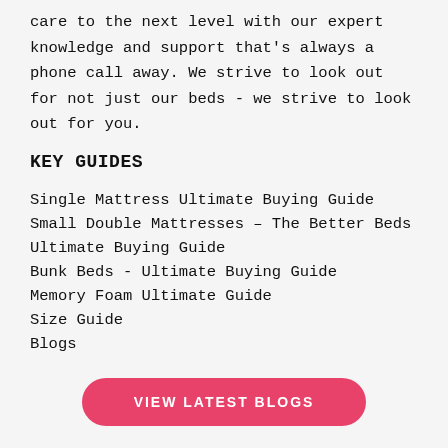care to the next level with our expert knowledge and support that's always a phone call away. We strive to look out for not just our beds - we strive to look out for you.
KEY GUIDES
Single Mattress Ultimate Buying Guide
Small Double Mattresses – The Better Beds Ultimate Buying Guide
Bunk Beds - Ultimate Buying Guide
Memory Foam Ultimate Guide
Size Guide
Blogs
VIEW LATEST BLOGS